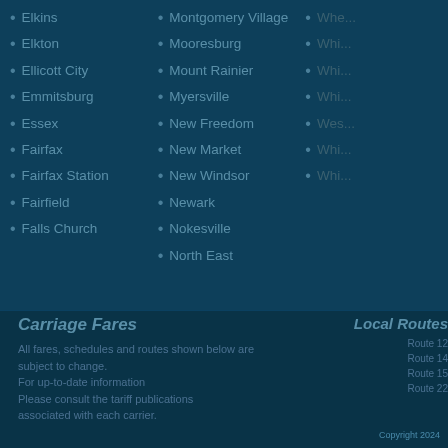Elkins
Elkton
Ellicott City
Emmitsburg
Essex
Fairfax
Fairfax Station
Fairfield
Falls Church
Montgomery Village
Mooresburg
Mount Rainier
Myersville
New Freedom
New Market
New Windsor
Newark
Nokesville
North East
Carriage Fares
All fares, schedules and routes shown below are subject to change.
For up-to-date information
Please consult the tariff publications
associated with each carrier.